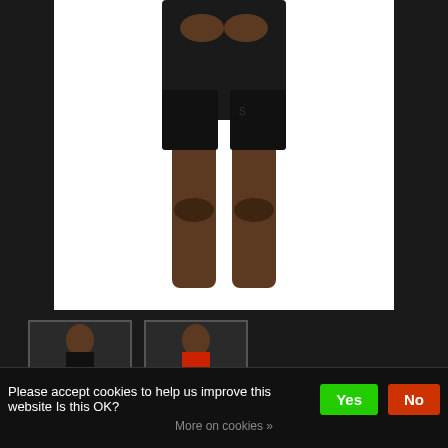[Figure (photo): Main product image showing a person from the waist down wearing black cycling shorts against a white background]
[Figure (photo): Thumbnail 1: full body shot of person wearing black cycling kit]
[Figure (photo): Thumbnail 2: full body shot of person wearing red jersey and black cycling shorts]
SPECIALIZED MEN'S RBX JERSEY WITH SWAT™
C$135.00
Please accept cookies to help us improve this website Is this OK?
More on cookies »